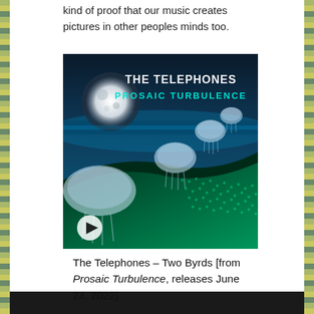kind of proof that our music creates pictures in other peoples minds too.
[Figure (photo): Album art for The Telephones – Prosaic Turbulence showing jellyfish floating over a teal digital landscape with a moon and ocean in the background. Title text reads 'THE TELEPHONES' and 'PROSAIC TURBULENCE' in cyan letters. A play button icon is visible at the bottom left.]
The Telephones – Two Byrds [from Prosaic Turbulence, releases June 24, 2022]
TMODM: What had the biggest influence on Prosaic Turbulence? Telephones: That is quite a big question, because a lot happened